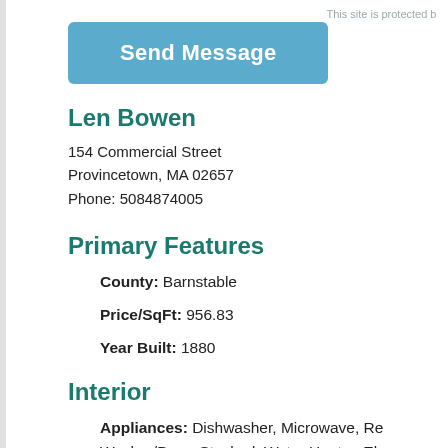This site is protected by
Send Message
Len Bowen
154 Commercial Street
Provincetown, MA 02657
Phone: 5084874005
Primary Features
County: Barnstable
Price/SqFt: 956.83
Year Built: 1880
Interior
Appliances: Dishwasher, Microwave, Re Washer/Dryer Stacked, Water Heater, El Heater
Bathrooms Total Decimal: 1